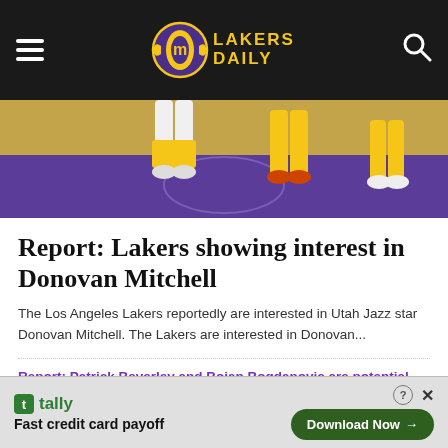Lakers Daily
[Figure (photo): Basketball players' legs visible on a court with purple and gold colors, Lakers game action shot from above]
Report: Lakers showing interest in Donovan Mitchell
The Los Angeles Lakers reportedly are interested in Utah Jazz star Donovan Mitchell. The Lakers are interested in Donovan...
Report: Patrick Beverley and Bojan Bogdanovic are potential trade targets for Lakers
Report: Re-signing Dennis Schroder is a 'legit consideration' for the Lakers depending on how their roster takes shape
Report: Lakers expected to move Austin Reaves into starting lineup
Brooklyn's latest stance on Kyrie Irving does not bode well for the Lakers
Tally — Fast credit card payoff — Download Now